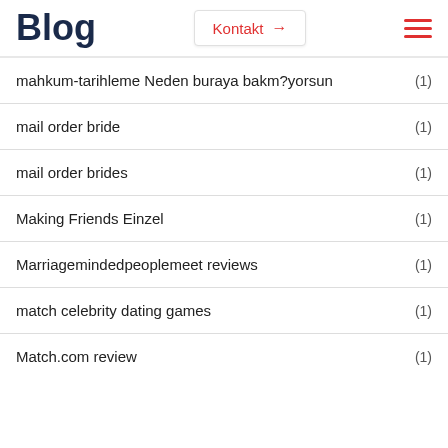Blog
mahkum-tarihleme Neden buraya bakm?yorsun (1)
mail order bride (1)
mail order brides (1)
Making Friends Einzel (1)
Marriagemindedpeoplemeet reviews (1)
match celebrity dating games (1)
Match.com review (1)